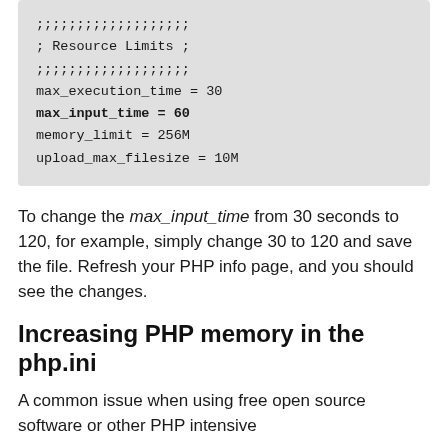[Figure (screenshot): Code block showing PHP ini Resource Limits configuration with max_execution_time=30, max_input_time=60 (bold), memory_limit=256M, upload_max_filesize=10M]
To change the max_input_time from 30 seconds to 120, for example, simply change 30 to 120 and save the file. Refresh your PHP info page, and you should see the changes.
Increasing PHP memory in the php.ini
A common issue when using free open source software or other PHP intensive